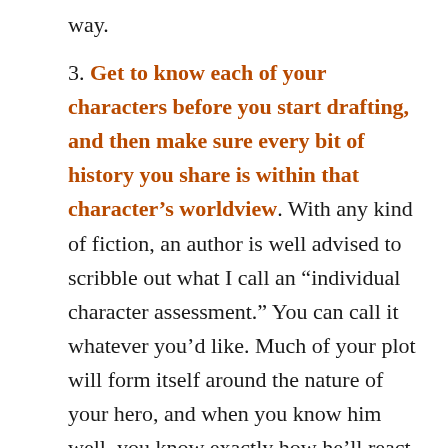way.
3. Get to know each of your characters before you start drafting, and then make sure every bit of history you share is within that character’s worldview. With any kind of fiction, an author is well advised to scribble out what I call an “individual character assessment.” You can call it whatever you’d like. Much of your plot will form itself around the nature of your hero, and when you know him well, you know exactly how he’ll react to his second week in the trenches in France. It sounds simple, but it’s crucial and often not done really well. As a reader I will travel down any road on which you